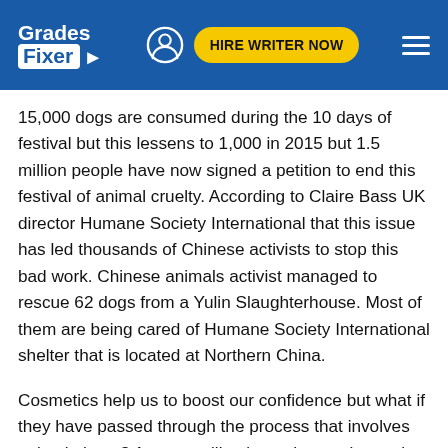Grades Fixer | HIRE WRITER NOW
15,000 dogs are consumed during the 10 days of festival but this lessens to 1,000 in 2015 but 1.5 million people have now signed a petition to end this festival of animal cruelty. According to Claire Bass UK director Humane Society International that this issue has led thousands of Chinese activists to stop this bad work. Chinese animals activist managed to rescue 62 dogs from a Yulin Slaughterhouse. Most of them are being cared of Humane Society International shelter that is located at Northern China.
Cosmetics help us to boost our confidence but what if they have passed through the process that involves animal abuse? Are you still going to buy make up that is involved in this crime? Do you still going to trust brands whose testing their product